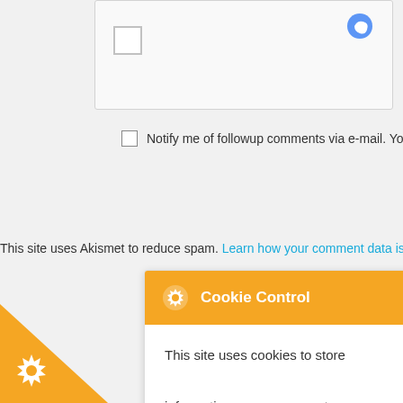[Figure (screenshot): reCAPTCHA checkbox widget with grey border]
Notify me of followup comments via e-mail. You can also subscribe
This site uses Akismet to reduce spam. Learn how your comment data is processed.
[Figure (screenshot): Cookie Control popup dialog with orange header showing gear icon and 'Cookie Control' title with close button, body text reads: This site uses cookies to store information on your computer. Some of these cookies are essential to make our site work and others help us to improve by giving us some insight into how the site is being used. IP addresses and cookies We may collect information]
[Figure (screenshot): Orange triangle badge in bottom left corner with white gear icon]